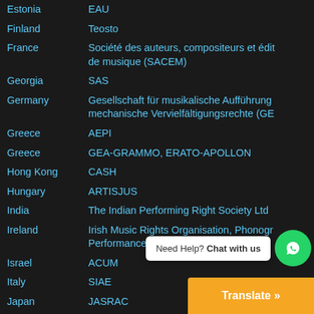| Country | Organization |
| --- | --- |
| Estonia | EAU |
| Finland | Teosto |
| France | Société des auteurs, compositeurs et éditeurs de musique (SACEM) |
| Georgia | SAS |
| Germany | Gesellschaft für musikalische Aufführungs- und mechanische Vervielfältigungsrechte (GEMA) |
| Greece | AEPI |
| Greece | GEA-GRAMMO, ERATO-APOLLON |
| Hong Kong | CASH |
| Hungary | ARTISJUS |
| India | The Indian Performing Right Society Ltd |
| Ireland | Irish Music Rights Organisation, Phonographic Performance Ireland (PPI) |
| Israel | ACUM |
| Italy | SIAE |
| Japan | JASRAC |